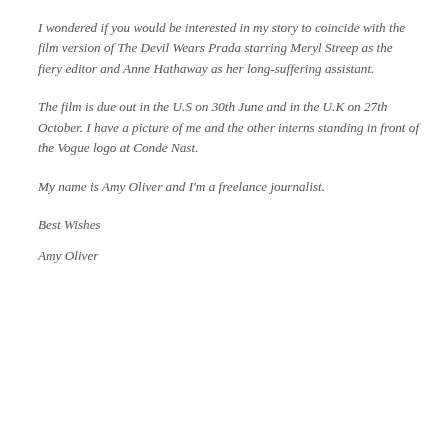I wondered if you would be interested in my story to coincide with the film version of The Devil Wears Prada starring Meryl Streep as the fiery editor and Anne Hathaway as her long-suffering assistant.
The film is due out in the U.S on 30th June and in the U.K on 27th October. I have a picture of me and the other interns standing in front of the Vogue logo at Conde Nast.
My name is Amy Oliver and I'm a freelance journalist.
Best Wishes
Amy Oliver